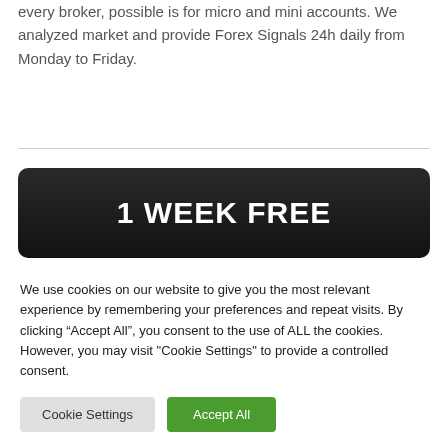every broker, possible is for micro and mini accounts. We analyzed market and provide Forex Signals 24h daily from Monday to Friday.
[Figure (other): Dark rounded banner with bold white text reading '1 WEEK FREE']
We use cookies on our website to give you the most relevant experience by remembering your preferences and repeat visits. By clicking "Accept All", you consent to the use of ALL the cookies. However, you may visit "Cookie Settings" to provide a controlled consent.